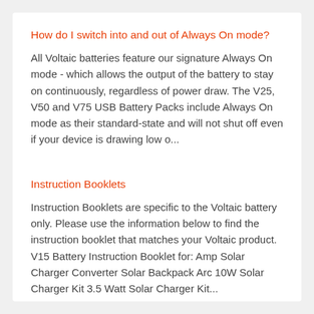How do I switch into and out of Always On mode?
All Voltaic batteries feature our signature Always On mode - which allows the output of the battery to stay on continuously, regardless of power draw. The V25, V50 and V75 USB Battery Packs include Always On mode as their standard-state and will not shut off even if your device is drawing low o...
Instruction Booklets
Instruction Booklets are specific to the Voltaic battery only. Please use the information below to find the instruction booklet that matches your Voltaic product. V15 Battery Instruction Booklet for: Amp Solar Charger Converter Solar Backpack Arc 10W Solar Charger Kit 3.5 Watt Solar Charger Kit...